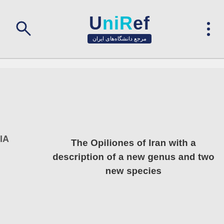UniRef - مرجع دانشگاه‌های ایران
IA
The Opiliones of Iran with a description of a new genus and two new species